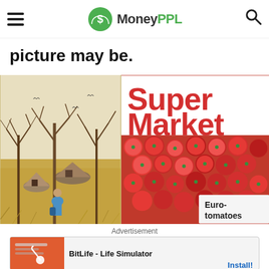MoneyPPL
picture may be.
[Figure (photo): Split image: left half shows a painted illustration of a rural African village scene with bare trees and a person in a blue garment; right half shows a real photo of red tomatoes at a supermarket display with a sign reading 'Super Market' and 'Euro-tomatoes']
Advertisement
[Figure (screenshot): Mobile advertisement banner for BitLife - Life Simulator with an Install button]